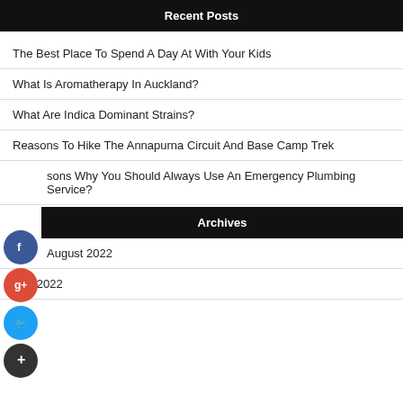Recent Posts
The Best Place To Spend A Day At With Your Kids
What Is Aromatherapy In Auckland?
What Are Indica Dominant Strains?
Reasons To Hike The Annapurna Circuit And Base Camp Trek
sons Why You Should Always Use An Emergency Plumbing Service?
Archives
August 2022
July 2022